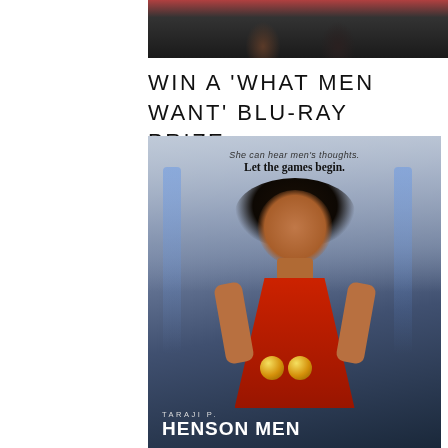[Figure (photo): Top portion of a photo showing two people from shoulders up, partially cropped]
WIN A 'WHAT MEN WANT' BLU-RAY PRIZE...
[Figure (photo): Movie poster for 'What Men Want' featuring Taraji P. Henson in a red dress holding golden baseballs, with tagline 'She can hear men's thoughts. Let the games begin.']